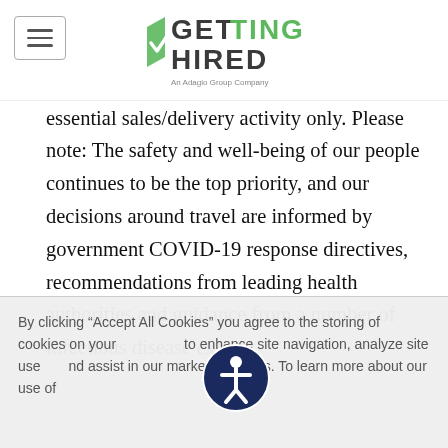Getting Hired (logo) - An Adagio Group Company
For now, all Accenture travel, international and domestic, is currently restricted to client-essential sales/delivery activity only. Please note: The safety and well-being of our people continues to be the top priority, and our decisions around travel are informed by government COVID-19 response directives, recommendations from leading health authorities and guidance from a number of infectious disease experts
Qualifications
Here's what you need:
Existing and up to date Workday Learning
By clicking “Accept All Cookies” you agree to the storing of cookies on your device to enhance site navigation, analyze site usage, and assist in our marketing efforts. To learn more about our use of